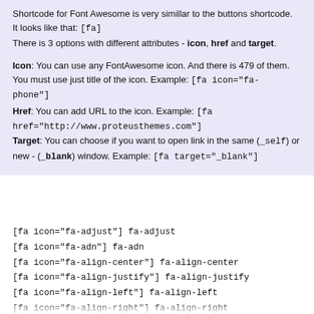Shortcode for Font Awesome is very simillar to the buttons shortcode. It looks like that: [fa]
There is 3 options with different attributes - icon, href and target.
Icon: You can use any FontAwesome icon. And there is 479 of them. You must use just title of the icon. Example: [fa icon="fa-phone"]
Href: You can add URL to the icon. Example: [fa href="http://www.proteusthemes.com"]
Target: You can choose if you want to open link in the same (_self) or new - (_blank) window. Example: [fa target="_blank"]
[fa icon="fa-adjust"] fa-adjust
[fa icon="fa-adn"] fa-adn
[fa icon="fa-align-center"] fa-align-center
[fa icon="fa-align-justify"] fa-align-justify
[fa icon="fa-align-left"] fa-align-left
[fa icon="fa-align-right"] fa-align-right
[fa icon="fa-ambulance"] fa-ambulance
[fa icon="fa-anchor"] fa-anchor